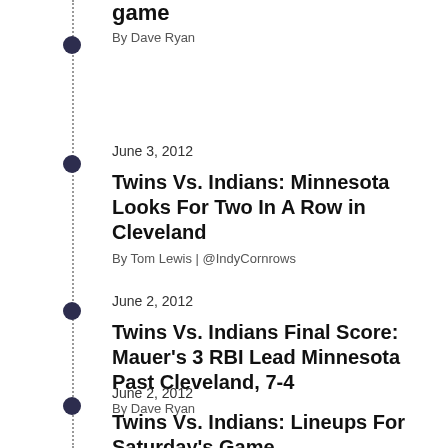game
By Dave Ryan
June 3, 2012
Twins Vs. Indians: Minnesota Looks For Two In A Row in Cleveland
By Tom Lewis | @IndyCornrows
June 2, 2012
Twins Vs. Indians Final Score: Mauer's 3 RBI Lead Minnesota Past Cleveland, 7-4
By Dave Ryan
June 2, 2012
Twins Vs. Indians: Lineups For Saturday's Game
By Packey | @Detroit4lyfe